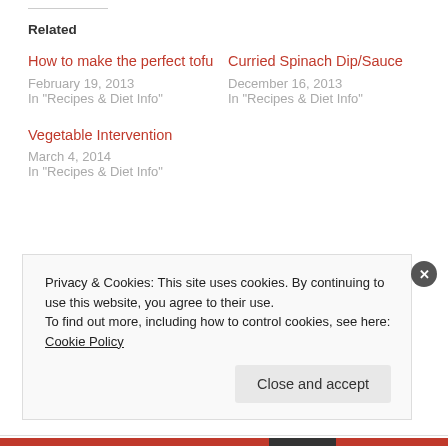Related
How to make the perfect tofu
February 19, 2013
In "Recipes & Diet Info"
Curried Spinach Dip/Sauce
December 16, 2013
In "Recipes & Diet Info"
Vegetable Intervention
March 4, 2014
In "Recipes & Diet Info"
Privacy & Cookies: This site uses cookies. By continuing to use this website, you agree to their use.
To find out more, including how to control cookies, see here: Cookie Policy
Close and accept